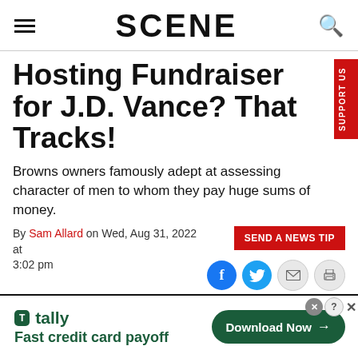SCENE
Hosting Fundraiser for J.D. Vance? That Tracks!
Browns owners famously adept at assessing character of men to whom they pay huge sums of money.
By Sam Allard on Wed, Aug 31, 2022 at 3:02 pm
[Figure (screenshot): SEND A NEWS TIP button and social sharing icons (Facebook, Twitter, Email, Print)]
[Figure (screenshot): Tally advertisement banner: Fast credit card payoff, Download Now button]